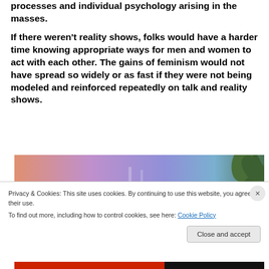processes and individual psychology arising in the masses.
If there weren't reality shows, folks would have a harder time knowing appropriate ways for men and women to act with each other. The gains of feminism would not have spread so widely or as fast if they were not being modeled and reinforced repeatedly on talk and reality shows.
[Figure (screenshot): Screenshot of a talk show set with colorful background (pink, purple, blue) and a plant on the right side, partially obscured by a cookie consent banner.]
Privacy & Cookies: This site uses cookies. By continuing to use this website, you agree to their use.
To find out more, including how to control cookies, see here: Cookie Policy